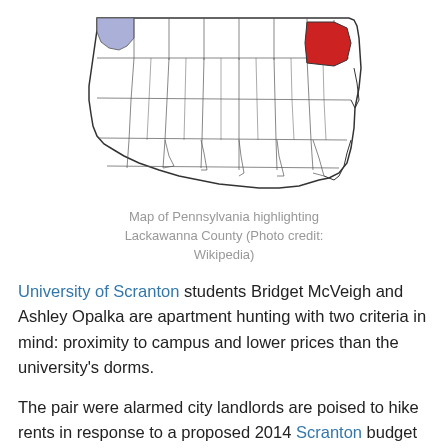[Figure (map): Map of Pennsylvania highlighting Lackawanna County in red, with a blue-shaded region in the upper left corner.]
Map of Pennsylvania highlighting Lackawanna County (Photo credit: Wikipedia)
University of Scranton students Bridget McVeigh and Ashley Opalka are apartment hunting with two criteria in mind: proximity to campus and lower prices than the university's dorms.
The pair were alarmed city landlords are poised to hike rents in response to a proposed 2014 Scranton budget